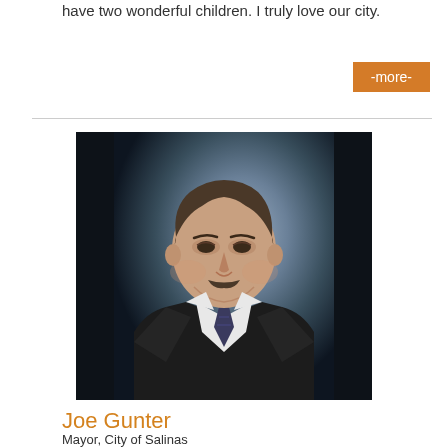have two wonderful children. I truly love our city.
-more-
[Figure (photo): Portrait photo of Joe Gunter, a middle-aged man in a dark suit and tie, smiling, with a gray/blue studio background.]
Joe Gunter
Mayor, City of Salinas